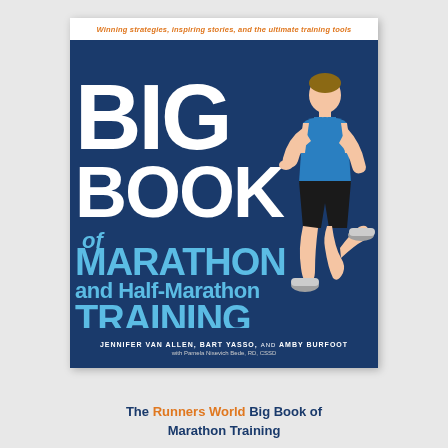[Figure (illustration): Book cover of 'The Runner's World Big Book of Marathon and Half-Marathon Training' showing a man running in a blue tank top and black shorts against a dark blue background, with title text and authors Jennifer Van Allen, Bart Yasso, and Amby Burfoot]
The Runners World Big Book of Marathon Training